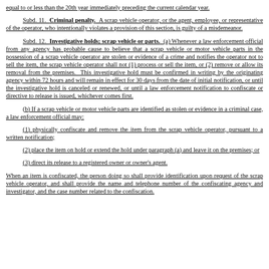equal to or less than the 20th year immediately preceding the current calendar year.
Subd. 11. Criminal penalty. A scrap vehicle operator, or the agent, employee, or representative of the operator, who intentionally violates a provision of this section, is guilty of a misdemeanor.
Subd. 12. Investigative holds; scrap vehicle or parts. (a) Whenever a law enforcement official from any agency has probable cause to believe that a scrap vehicle or motor vehicle parts in the possession of a scrap vehicle operator are stolen or evidence of a crime and notifies the operator not to sell the item, the scrap vehicle operator shall not (1) process or sell the item, or (2) remove or allow its removal from the premises. This investigative hold must be confirmed in writing by the originating agency within 72 hours and will remain in effect for 30 days from the date of initial notification, or until the investigative hold is canceled or renewed, or until a law enforcement notification to confiscate or directive to release is issued, whichever comes first.
(b) If a scrap vehicle or motor vehicle parts are identified as stolen or evidence in a criminal case, a law enforcement official may:
(1) physically confiscate and remove the item from the scrap vehicle operator, pursuant to a written notification;
(2) place the item on hold or extend the hold under paragraph (a) and leave it on the premises; or
(3) direct its release to a registered owner or owner's agent.
When an item is confiscated, the person doing so shall provide identification upon request of the scrap vehicle operator, and shall provide the name and telephone number of the confiscating agency and investigator, and the case number related to the confiscation.